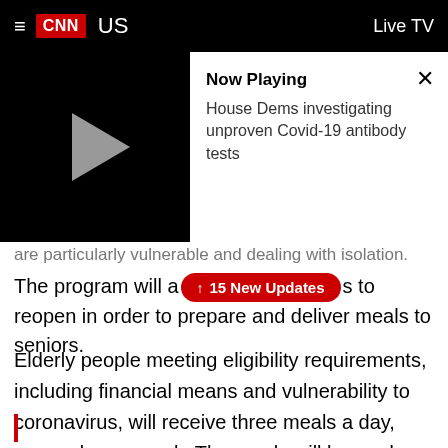≡ CNN US  Live TV
[Figure (screenshot): Video player thumbnail showing a play button on black background, with 'Now Playing' panel showing text: 'House Dems investigating unproven Covid-19 antibody tests']
are particularly vulnerable and dealing with isolation.
The program will allow [15 New Updates] to reopen in order to prepare and deliver meals to seniors.
Elderly people meeting eligibility requirements, including financial means and vulnerability to coronavirus, will receive three meals a day, seven days a week. The meals will be made with an eye on locally-produced ingredients in an effort to put farmers back to work, and will follow nutritional guidelines, the governor said.